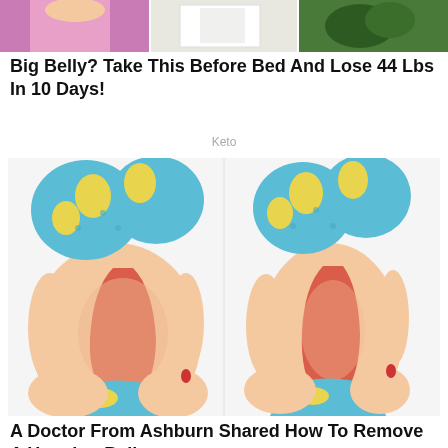[Figure (illustration): Top banner strip showing partial images of people/items]
Big Belly? Take This Before Bed And Lose 44 Lbs In 10 Days!
Keto
[Figure (illustration): Side-by-side cartoon illustration of a woman in a blue pineapple-print bikini showing a large belly on the left and a slimmer belly on the right, with a red highlighted area showing the belly region]
A Doctor From Ashburn Shared How To Remove A Hanging Belly
Keto
[Figure (illustration): Partially visible illustration at the bottom of the page]